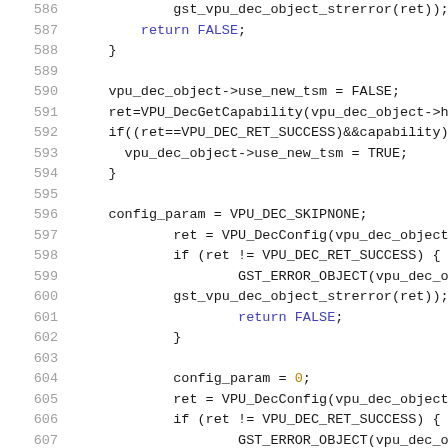[Figure (screenshot): Source code screenshot showing C code lines 586–607 with syntax highlighting. Line numbers in gray on left, code with colored keywords, identifiers, and values on right.]